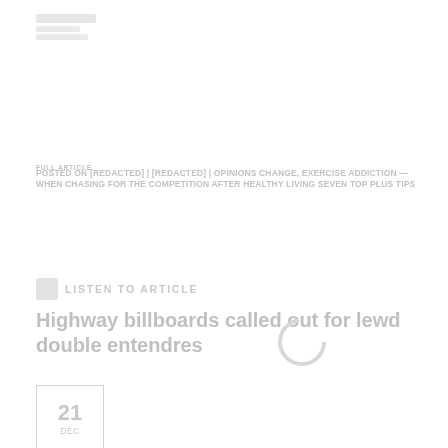[Logo/site header]
FULL ARTICLE
POSTED ON [REDACTED] | [REDACTED] | OPINIONS CHANGE, EXERCISE ADDICTION — WHEN CHASING FOR THE COMPETITION AFTER HEALTHY LIVING SEVEN TOP PLUS TIPS
LISTEN TO ARTICLE
Highway billboards called out for lewd double entendres
21 Dec